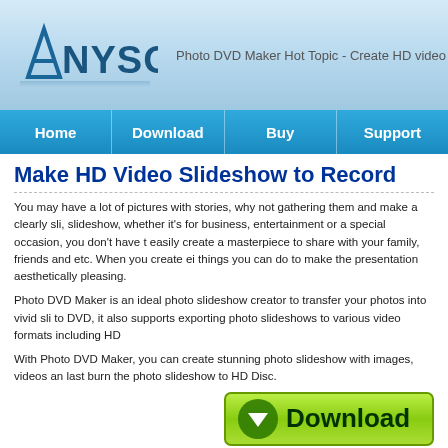[Figure (logo): AnySoft logo with stylized text and graphic element]
Photo DVD Maker Hot Topic - Create HD video Slideshow
Make HD Video Slideshow to Record
You may have a lot of pictures with stories, why not gathering them and make a clearly slideshow, whether it's for business, entertainment or a special occasion, you don't have to easily create a masterpiece to share with your family, friends and etc. When you create either things you can do to make the presentation aesthetically pleasing.
Photo DVD Maker is an ideal photo slideshow creator to transfer your photos into vivid slideshow to DVD, it also supports exporting photo slideshows to various video formats including HD
With Photo DVD Maker, you can create stunning photo slideshow with images, videos and last burn the photo slideshow to HD Disc.
[Figure (other): Green Download button with downward arrow icon]
Make HD MP4 Video Photo Slideshow
High-definition video or HD video refers to any video system of higher resolution than sta